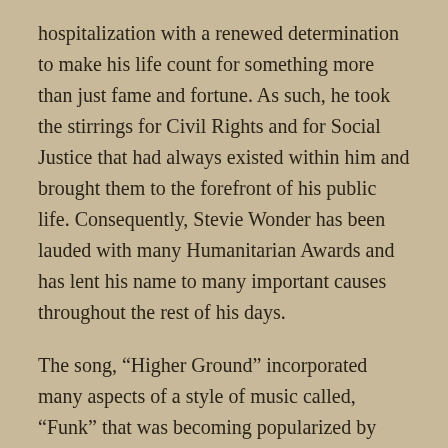hospitalization with a renewed determination to make his life count for something more than just fame and fortune. As such, he took the stirrings for Civil Rights and for Social Justice that had always existed within him and brought them to the forefront of his public life. Consequently, Stevie Wonder has been lauded with many Humanitarian Awards and has lent his name to many important causes throughout the rest of his days.
The song, “Higher Ground” incorporated many aspects of a style of music called, “Funk” that was becoming popularized by artists such as James Brown, at the time. In fact, although many musicians are present in the video you are about to see, the reality is that Stevie Wonder played all instruments used in the recording of